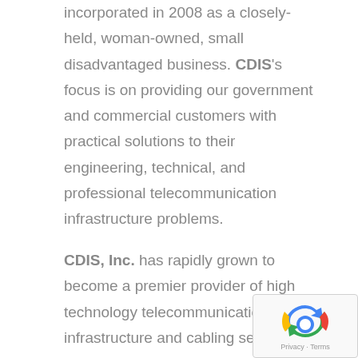incorporated in 2008 as a closely-held, woman-owned, small disadvantaged business. CDIS's focus is on providing our government and commercial customers with practical solutions to their engineering, technical, and professional telecommunication infrastructure problems.
CDIS, Inc. has rapidly grown to become a premier provider of high technology telecommunication infrastructure and cabling services and products employing over 225 professionally-trained employees. We are known for delivering high quality, manufacturer-backed,